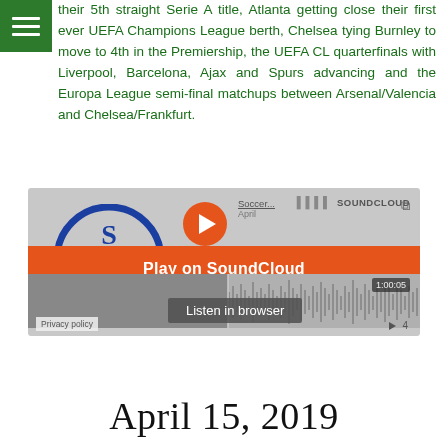their 5th straight Serie A title, Atlanta getting close their first ever UEFA Champions League berth, Chelsea tying Burnley to move to 4th in the Premiership, the UEFA CL quarterfinals with Liverpool, Barcelona, Ajax and Spurs advancing and the Europa League semi-final matchups between Arsenal/Valencia and Chelsea/Frankfurt.
[Figure (screenshot): SoundCloud embedded audio player screenshot showing a podcast episode with a blue circle logo (S, R, G letters), orange play button, 'Play on SoundCloud' orange banner, 'Listen in browser' button, audio waveform, time display 1:00:05, Privacy policy link, and play count of 4.]
April 15, 2019